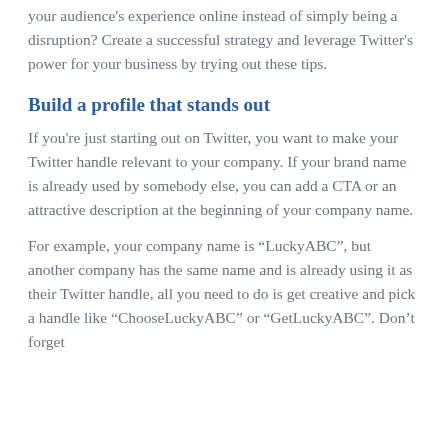your audience's experience online instead of simply being a disruption? Create a successful strategy and leverage Twitter's power for your business by trying out these tips.
Build a profile that stands out
If you're just starting out on Twitter, you want to make your Twitter handle relevant to your company. If your brand name is already used by somebody else, you can add a CTA or an attractive description at the beginning of your company name.
For example, your company name is “LuckyABC”, but another company has the same name and is already using it as their Twitter handle, all you need to do is get creative and pick a handle like “ChooseLuckyABC” or “GetLuckyABC”. Don’t forget